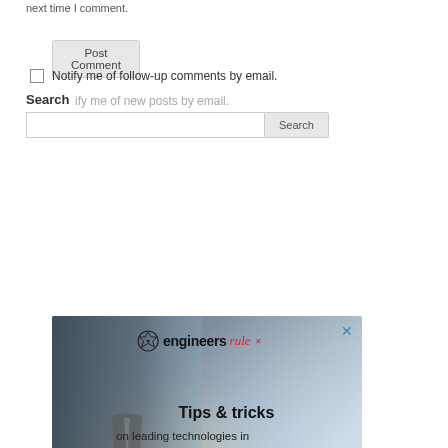next time I comment.
Post Comment
Notify me of follow-up comments by email.
Notify me of new posts by email.
Search
[Figure (screenshot): Search input field with Search button]
[Figure (advertisement): Engineers Rule advertisement banner with logo, Tips & tricks on leading technologies in design and engineering tagline, and Discover Today button]